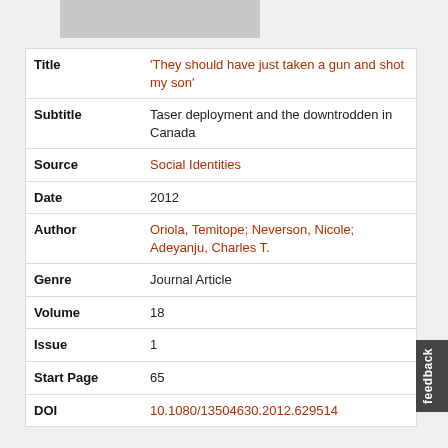[Figure (other): Thumbnail image placeholder (gray rectangle)]
| Field | Value |
| --- | --- |
| Title | 'They should have just taken a gun and shot my son' |
| Subtitle | Taser deployment and the downtrodden in Canada |
| Source | Social Identities |
| Date | 2012 |
| Author | Oriola, Temitope; Neverson, Nicole; Adeyanju, Charles T. |
| Genre | Journal Article |
| Volume | 18 |
| Issue | 1 |
| Start Page | 65 |
| DOI | 10.1080/13504630.2012.629514 |